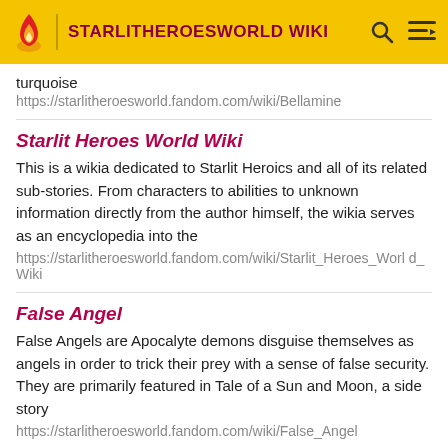STARLITHEROESWORLD WIKI
turquoise
https://starlitheroesworld.fandom.com/wiki/Bellamine
Starlit Heroes World Wiki
This is a wikia dedicated to Starlit Heroics and all of its related sub-stories. From characters to abilities to unknown information directly from the author himself, the wikia serves as an encyclopedia into the
https://starlitheroesworld.fandom.com/wiki/Starlit_Heroes_World_Wiki
False Angel
False Angels are Apocalyte demons disguise themselves as angels in order to trick their prey with a sense of false security. They are primarily featured in Tale of a Sun and Moon, a side story
https://starlitheroesworld.fandom.com/wiki/False_Angel